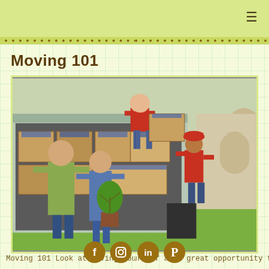≡
Moving 101
[Figure (photo): A couple smiling in front of a moving truck being loaded with cardboard boxes by two movers in red shirts and caps. The woman holds a potted plant.]
Moving 101 Look at moving yourself as a great opportunity to
[Figure (infographic): Social media icons: Facebook, Instagram, LinkedIn, Pinterest — golden/brown colored circles]